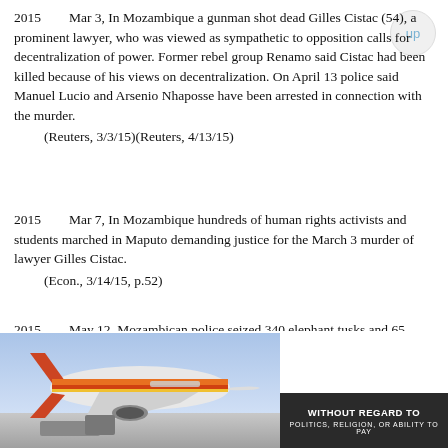2015   Mar 3, In Mozambique a gunman shot dead Gilles Cistac (54), a prominent lawyer, who was viewed as sympathetic to opposition calls for decentralization of power. Former rebel group Renamo said Cistac had been killed because of his views on decentralization. On April 13 police said Manuel Lucio and Arsenio Nhaposse have been arrested in connection with the murder.
    (Reuters, 3/3/15)(Reuters, 4/13/15)
2015   Mar 7, In Mozambique hundreds of human rights activists and students marched in Maputo demanding justice for the March 3 murder of lawyer Gilles Cistac.
    (Econ., 3/14/15, p.52)
2015   May 12, Mozambican police seized 340 elephant tusks and 65 rhino horns from a house in the city of Matola. Two Chinese citizens were arrested. Mozambique's elephant population has dropped from just over 20,000 to
[Figure (photo): Advertisement banner showing an airplane with colorful livery (orange, red, yellow tones) being loaded with cargo, with a dark text overlay saying 'WITHOUT REGARD TO POLITICS, RELIGION, OR ABILITY TO PAY']